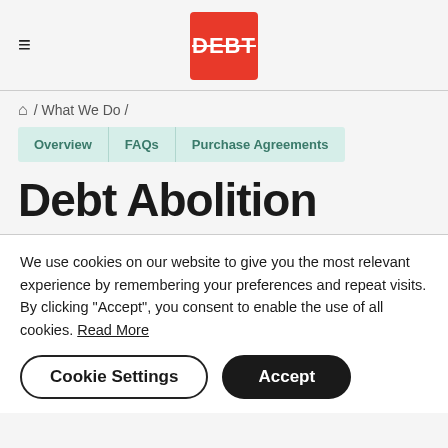[Figure (logo): Red square logo with white strikethrough text 'DEBT']
🏠 / What We Do /
Overview | FAQs | Purchase Agreements
Debt Abolition
We use cookies on our website to give you the most relevant experience by remembering your preferences and repeat visits. By clicking "Accept", you consent to enable the use of all cookies. Read More
Cookie Settings | Accept